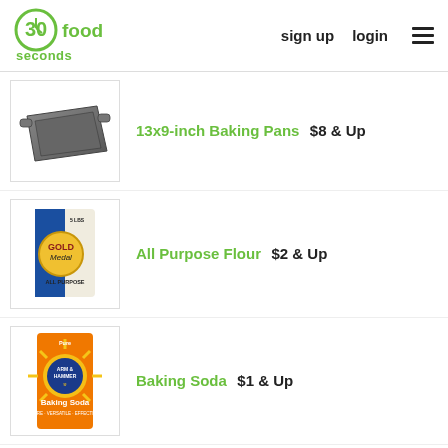30 seconds food | sign up | login
13x9-inch Baking Pans  $8 & Up
All Purpose Flour  $2 & Up
Baking Soda  $1 & Up
Baking Powder  $2 & Up